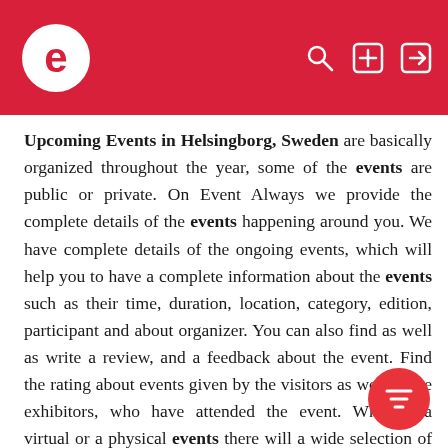e — Eventbrite-style app header with logo and icons
Upcoming Events in Helsingborg, Sweden are basically organized throughout the year, some of the events are public or private. On Event Always we provide the complete details of the events happening around you. We have complete details of the ongoing events, which will help you to have a complete information about the events such as their time, duration, location, category, edition, participant and about organizer. You can also find as well as write a review, and a feedback about the event. Find the rating about events given by the visitors as well as the exhibitors, who have attended the event. Whether a virtual or a physical events there will a wide selection of events on the website. There are various event categories like agriculture & forestry, animals & pets, apparel &clothing, arts & craft, charity & causes and many categories. With a variety of option available for event category, it will help be helpful for visitors to find out their choice of. Whether it happens tomorrow, at the weekend, this month or next month, just get in touch with us and we will tell you the